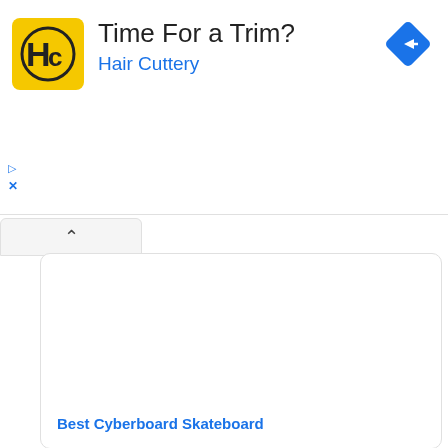[Figure (screenshot): Hair Cuttery advertisement banner with yellow HC logo, text 'Time For a Trim?' and 'Hair Cuttery' in blue, and a blue diamond navigation icon in the top right]
[Figure (screenshot): Collapsed/expanded UI panel toggle button with an upward caret symbol]
Best Cyberboard Skateboard
[Figure (screenshot): Second content card area, mostly blank white]